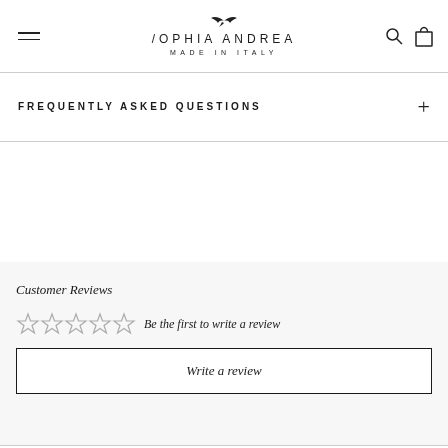SOPHIA ANDREA MADE IN ITALY
FREQUENTLY ASKED QUESTIONS
Customer Reviews
☆ ☆ ☆ ☆ ☆  Be the first to write a review
Write a review